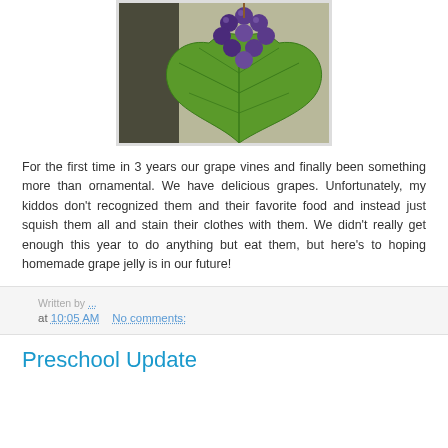[Figure (photo): Photo of grape vine with large green leaf and cluster of dark purple/blue grapes in the upper portion, set against a light background]
For the first time in 3 years our grape vines and finally been something more than ornamental. We have delicious grapes. Unfortunately, my kiddos don't recognized them and their favorite food and instead just squish them all and stain their clothes with them. We didn't really get enough this year to do anything but eat them, but here's to hoping homemade grape jelly is in our future!
at 10:05 AM   No comments:
Preschool Update